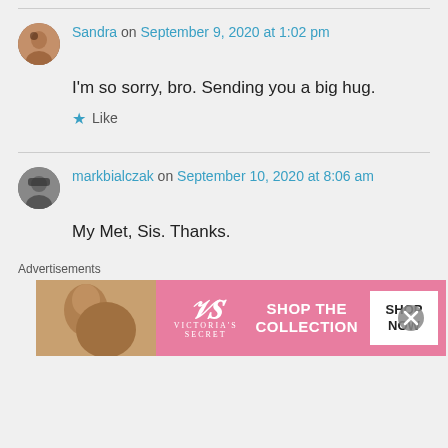Sandra on September 9, 2020 at 1:02 pm
I'm so sorry, bro. Sending you a big hug.
Like
markbialczak on September 10, 2020 at 8:06 am
My Met, Sis. Thanks.
Advertisements
[Figure (infographic): Victoria's Secret advertisement banner with pink background, model photo, VS logo, 'SHOP THE COLLECTION' text, and 'SHOP NOW' call-to-action button]